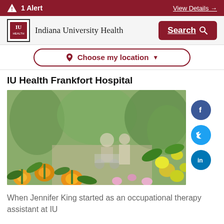1 Alert   View Details →
Indiana University Health   Search
Choose my location
IU Health Frankfort Hospital
[Figure (photo): A healthcare worker pushing a patient in a wheelchair through an outdoor garden with yellow and orange flowers in the foreground, greenery in the background.]
When Jennifer King started as an occupational therapy assistant at IU